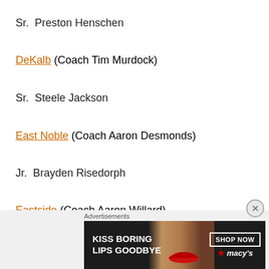Sr.  Preston Henschen
DeKalb (Coach Tim Murdock)
Sr.  Steele Jackson
East Noble (Coach Aaron Desmonds)
Jr.  Brayden Risedorph
Eastside (Coach Aaron Willard)
Jr.  Owen Willard
Sr.  [partially visible]
[Figure (other): Advertisement banner: Macy's lipstick ad reading KISS BORING LIPS GOODBYE with SHOP NOW button and Macy's star logo]